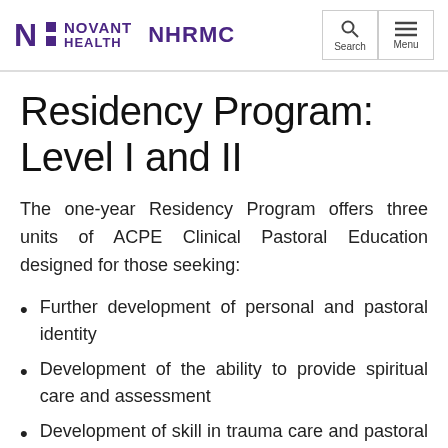NOVANT HEALTH NHRMC
Residency Program: Level I and II
The one-year Residency Program offers three units of ACPE Clinical Pastoral Education designed for those seeking:
Further development of personal and pastoral identity
Development of the ability to provide spiritual care and assessment
Development of skill in trauma care and pastoral crisis intervention